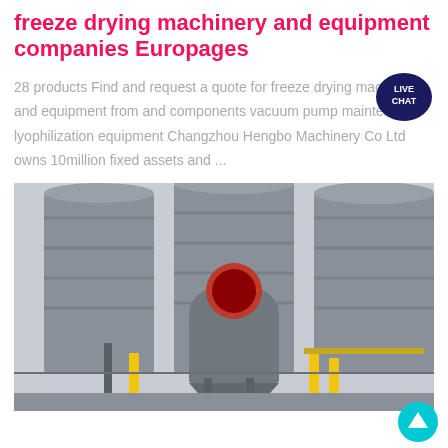freeze drying machinery and equipment companies Europages
28 products Find and request a quote for freeze drying machinery and equipment from and components vacuum pump maintenance lyophilization equipment Changzhou Hengbo Machinery Co Ltd owns 10million fixed assets and ...
[Figure (photo): Industrial freeze drying or spray drying machinery — large grey cylindrical silos and separator vessels with red-lined opening, yellow support structures, inside a factory building.]